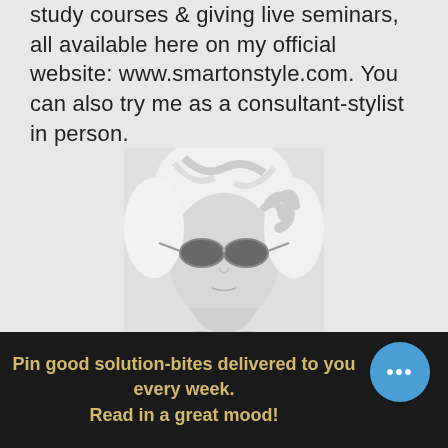study courses & giving live seminars, all available here on my official website: www.smartonstyle.com. You can also try me as a consultant-stylist in person.
[Figure (photo): Black and white photo of a blonde woman wearing sunglasses, hand raised to her head]
Sign up for Free Helpful Tips
Pin good solution-bites delivered to you every week. Read in a great mood!